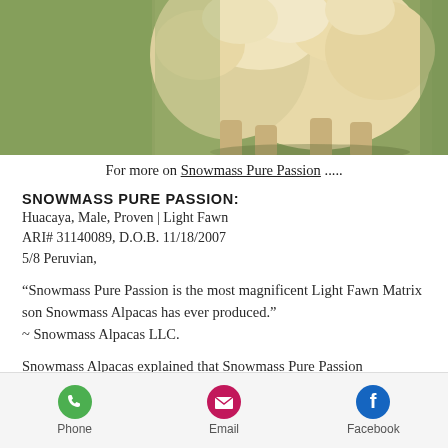[Figure (photo): Partial photo of a fluffy light fawn alpaca (Snowmass Pure Passion) standing on green grass, showing mainly the body and legs from below.]
For more on Snowmass Pure Passion .....
SNOWMASS PURE PASSION:
Huacaya, Male, Proven | Light Fawn
ARI# 31140089, D.O.B. 11/18/2007
5/8 Peruvian,
“Snowmass Pure Passion is the most magnificent Light Fawn Matrix son Snowmass Alpacas has ever produced.”
~ Snowmass Alpacas LLC.
Snowmass Alpacas explained that Snowmass Pure Passion represented
Phone   Email   Facebook